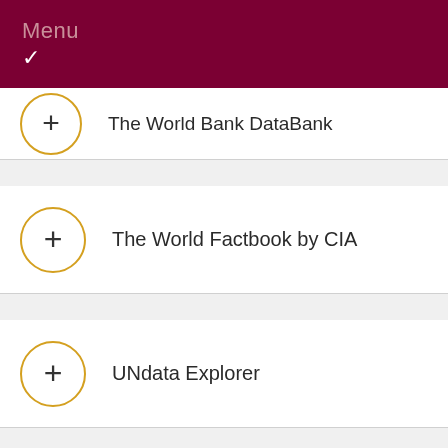Menu
The World Bank DataBank
The World Factbook by CIA
UNdata Explorer
World dataBa...
Email a Librarian